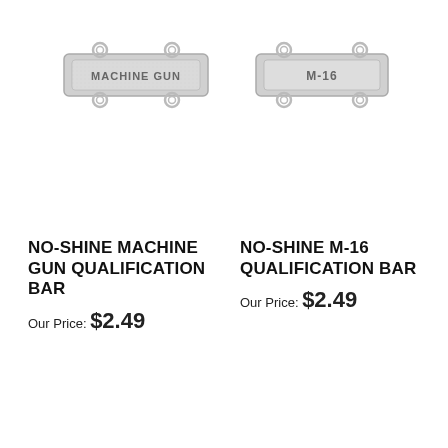[Figure (photo): Two silver/chrome military qualification bars side by side. Left bar reads 'MACHINE GUN' in raised letters with mounting loops at corners. Right bar reads 'M-16' in raised letters with mounting loops at corners.]
NO-SHINE MACHINE GUN QUALIFICATION BAR
Our Price: $2.49
NO-SHINE M-16 QUALIFICATION BAR
Our Price: $2.49